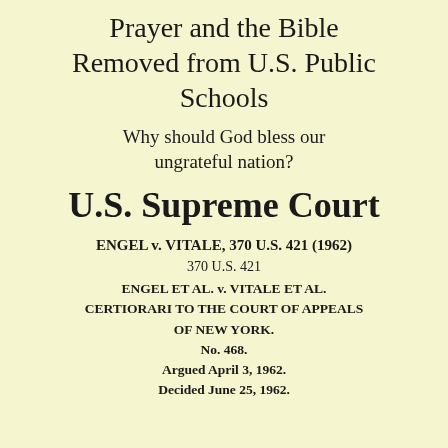Prayer and the Bible Removed from U.S. Public Schools
Why should God bless our ungrateful nation?
U.S. Supreme Court
ENGEL v. VITALE, 370 U.S. 421 (1962)
370 U.S. 421
ENGEL ET AL. v. VITALE ET AL.
CERTIORARRI TO THE COURT OF APPEALS OF NEW YORK.
No. 468.
Argued April 3, 1962.
Decided June 25, 1962.